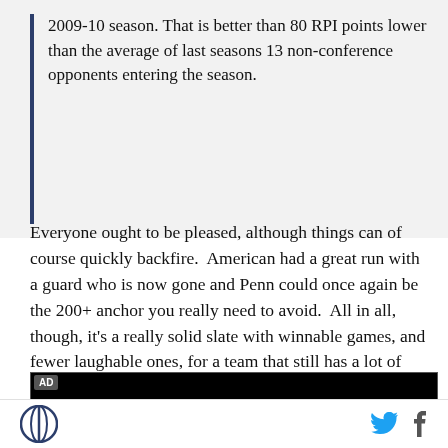2009-10 season. That is better than 80 RPI points lower than the average of last seasons 13 non-conference opponents entering the season.
Everyone ought to be pleased, although things can of course quickly backfire.  American had a great run with a guard who is now gone and Penn could once again be the 200+ anchor you really need to avoid.  All in all, though, it's a really solid slate with winnable games, and fewer laughable ones, for a team that still has a lot of production to replace.
[Figure (other): Black advertisement banner with AD label in top-left corner]
Logo icon and social share icons (Twitter, Facebook)